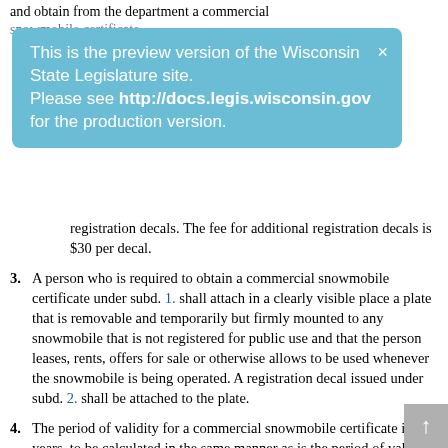and obtain from the department a commercial snowmobile certificate
This is the preview version of the Wisconsin State Legislature site. Please see http://docs.legis.wisconsin.gov for the production version.
registration decals. The fee for additional registration decals is $30 per decal.
3. A person who is required to obtain a commercial snowmobile certificate under subd. 1. shall attach in a clearly visible place a plate that is removable and temporarily but firmly mounted to any snowmobile that is not registered for public use and that the person leases, rents, offers for sale or otherwise allows to be used whenever the snowmobile is being operated. A registration decal issued under subd. 2. shall be attached to the plate.
4. The period of validity for a commercial snowmobile certificate is 3 years, to be calculated in the same manner as is the period of validity for a public-use registration certificate under par. (a).
5. Any snowmobile dealer or creditor may offer or sell guaranteed asset protection waivers in connection with the retail sale or lease of snowmobiles in this state if dealer or creditor complies with the same requirements